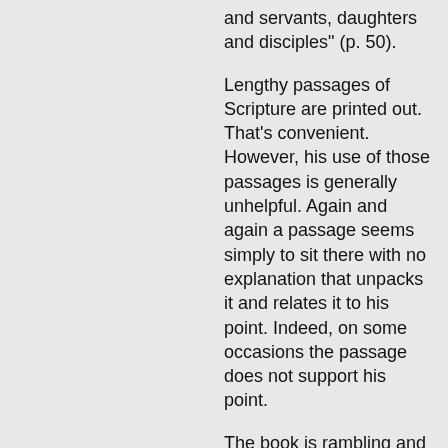and servants, daughters and disciples" (p. 50).
Lengthy passages of Scripture are printed out. That's convenient. However, his use of those passages is generally unhelpful. Again and again a passage seems simply to sit there with no explanation that unpacks it and relates it to his point. Indeed, on some occasions the passage does not support his point.
The book is rambling and repetitive. Some chapters are poorly developed (for example, chapter 6). The reviewer